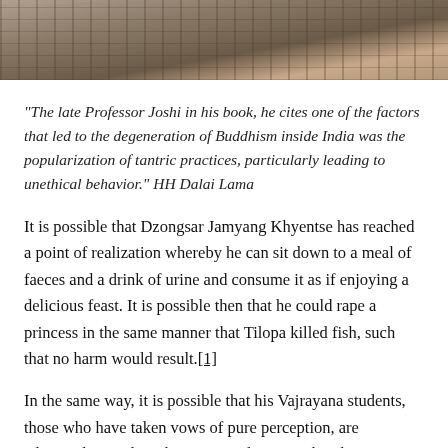[Figure (photo): Photograph of ancient stone ruins or temple structure, showing weathered stone blocks and masonry.]
“The late Professor Joshi in his book, he cites one of the factors that led to the degeneration of Buddhism inside India was the popularization of tantric practices, particularly leading to unethical behavior.” HH Dalai Lama
It is possible that Dzongsar Jamyang Khyentse has reached a point of realization whereby he can sit down to a meal of faeces and a drink of urine and consume it as if enjoying a delicious feast. It is possible then that he could rape a princess in the same manner that Tilopa killed fish, such that no harm would result.[1]
In the same way, it is possible that his Vajrayana students, those who have taken vows of pure perception, are advanced enough in their own realizations that they are no longer at risk of confusing the madyamaka views on emptiness with nihilism—no longer